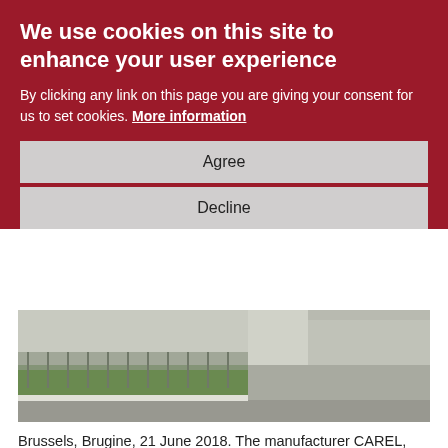We use cookies on this site to enhance your user experience
By clicking any link on this page you are giving your consent for us to set cookies. More information
Agree
Decline
[Figure (photo): Exterior photo of a building with fence and green grass area, parking lot visible on the right side]
Brussels, Brugine, 21 June 2018. The manufacturer CAREL, world leader in control solutions for air-conditioning, refrigeration and heating, and systems for humidification and evaporative cooling, has become the official Connectivity Partner (sponsor) of the 2018 Eurovent Summit in Seville, Spain. At Europe's major gathering for key HVACR decision-makers, CAREL is